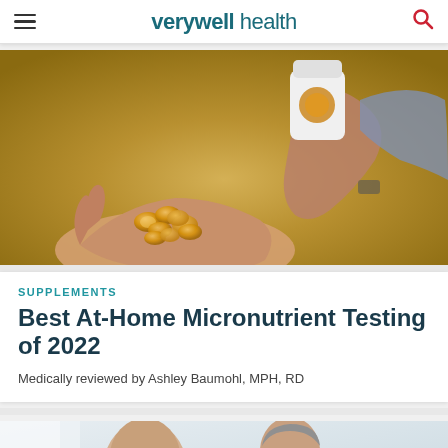verywell health
[Figure (photo): Close-up of hands pouring golden gel capsules from a white pill bottle into an open palm, warm golden/amber background]
SUPPLEMENTS
Best At-Home Micronutrient Testing of 2022
Medically reviewed by Ashley Baumohl, MPH, RD
[Figure (photo): Two men in a bright room, one with glasses and grey hair facing another bald man, partially cropped at bottom of page]